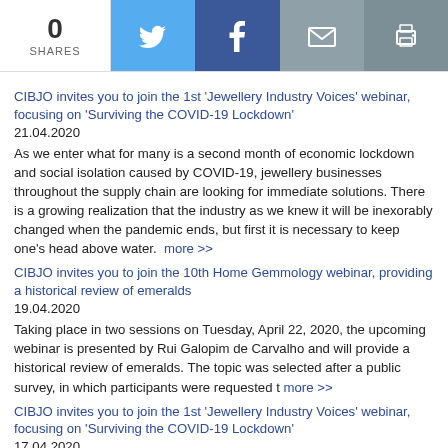0 SHARES
CIBJO invites you to join the 1st 'Jewellery Industry Voices' webinar, focusing on 'Surviving the COVID-19 Lockdown'
21.04.2020
As we enter what for many is a second month of economic lockdown and social isolation caused by COVID-19, jewellery businesses throughout the supply chain are looking for immediate solutions. There is a growing realization that the industry as we knew it will be inexorably changed when the pandemic ends, but first it is necessary to keep one's head above water.  more >>
CIBJO invites you to join the 10th Home Gemmology webinar, providing a historical review of emeralds
19.04.2020
Taking place in two sessions on Tuesday, April 22, 2020, the upcoming webinar is presented by Rui Galopim de Carvalho and will provide a historical review of emeralds. The topic was selected after a public survey, in which participants were requested t more >>
CIBJO invites you to join the 1st 'Jewellery Industry Voices' webinar, focusing on 'Surviving the COVID-19 Lockdown'
17.04.2020
As we enter what for many is a second month of economic lockdown and social isolation caused by COVID-19, jewellery